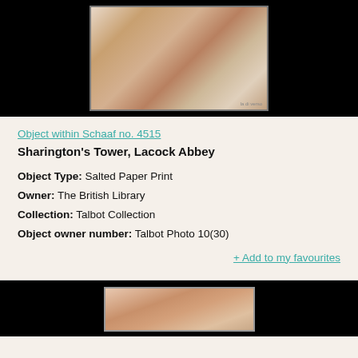[Figure (photo): Photograph of Sharington's Tower, Lacock Abbey - a salted paper print showing architectural ruins in sepia tones, displayed against a black background]
Object within Schaaf no. 4515
Sharington's Tower, Lacock Abbey
Object Type: Salted Paper Print
Owner: The British Library
Collection: Talbot Collection
Object owner number: Talbot Photo 10(30)
+ Add to my favourites
[Figure (photo): Second photograph partially visible at bottom - appears to be another salted paper print in sepia/brown tones against black background]